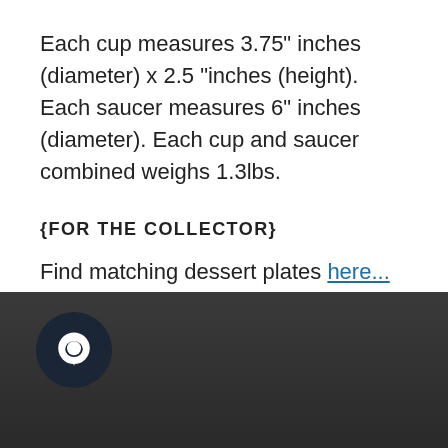Each cup measures 3.75" inches (diameter) x 2.5 "inches (height). Each saucer measures 6" inches (diameter). Each cup and saucer combined weighs 1.3lbs.
{FOR THE COLLECTOR}
Find matching dessert plates here...
[Figure (infographic): Social sharing buttons: Facebook Share, Twitter Tweet, Pinterest Pin it]
Dark footer bar with chat bubble icon